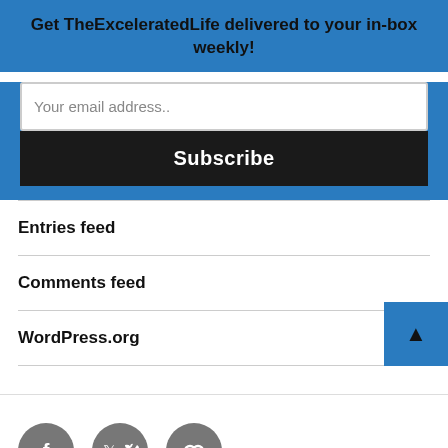Get TheExceleratedLife delivered to your in-box weekly!
Your email address..
Subscribe
Entries feed
Comments feed
WordPress.org
[Figure (illustration): Three circular social media icon buttons (Facebook, Twitter, chain/link icon) in gray]
Privacy Policy / Proudly powered by WordPress